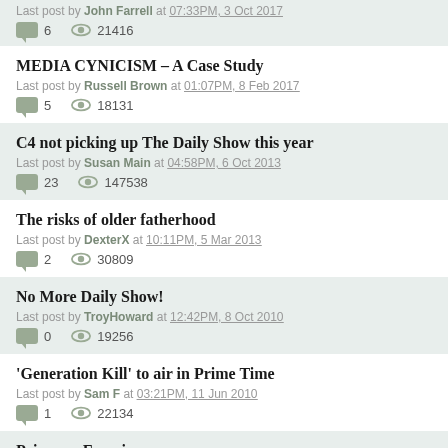Last post by John Farrell at 07:33PM, 3 Oct 2017 | 6 replies | 21416 views
MEDIA CYNICISM – A Case Study | Last post by Russell Brown at 01:07PM, 8 Feb 2017 | 5 replies | 18131 views
C4 not picking up The Daily Show this year | Last post by Susan Main at 04:58PM, 6 Oct 2013 | 23 replies | 147538 views
The risks of older fatherhood | Last post by DexterX at 10:11PM, 5 Mar 2013 | 2 replies | 30809 views
No More Daily Show! | Last post by TroyHoward at 12:42PM, 8 Oct 2010 | 0 replies | 19256 views
'Generation Kill' to air in Prime Time | Last post by Sam F at 03:21PM, 11 Jun 2010 | 1 replies | 22134 views
Prime on Freeview – now | Last post by Graeme Edgeler at 11:28AM, 17 Aug 2009 | 1 replies | 31066 views